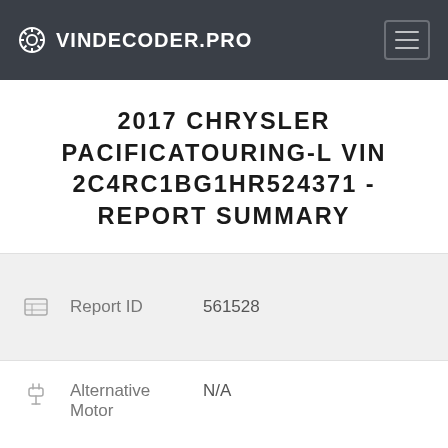VINDECODER.PRO
2017 CHRYSLER PACIFICATOURING-L VIN 2C4RC1BG1HR524371 - REPORT SUMMARY
|  | Field | Value |
| --- | --- | --- |
|  | Report ID | 561528 |
|  | Field | Value |
| --- | --- | --- |
|  | Alternative Motor | N/A |